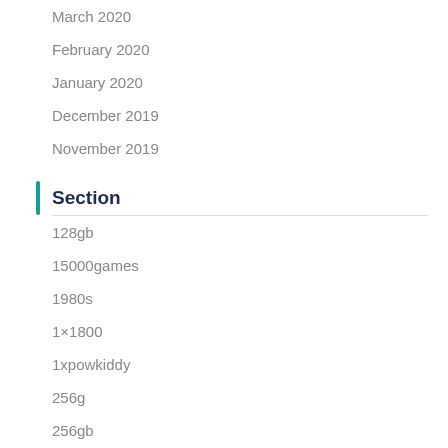March 2020
February 2020
January 2020
December 2019
November 2019
Section
128gb
15000games
1980s
1×1800
1xpowkiddy
256g
256gb
3188-in-1